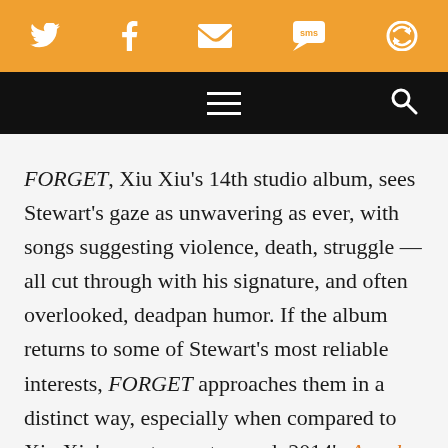Social sharing bar with Twitter, Facebook, Email, SMS, and refresh icons
[Figure (screenshot): Black navigation bar with hamburger menu icon and search icon]
FORGET, Xiu Xiu's 14th studio album, sees Stewart's gaze as unwavering as ever, with songs suggesting violence, death, struggle — all cut through with his signature, and often overlooked, deadpan humor. If the album returns to some of Stewart's most reliable interests, FORGET approaches them in a distinct way, especially when compared to Xiu Xiu's most recent record, 2014's Angel Guts: Red Classroom. For one, Stewart's approach to writing